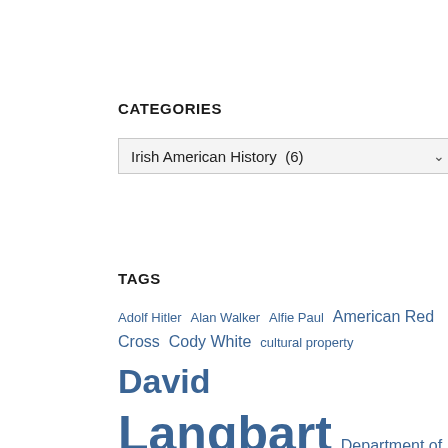CATEGORIES
Irish American History  (6)
TAGS
Adolf Hitler  Alan Walker  Alfie Paul  American Red Cross  Cody White  cultural property  David Langbart  Department of State  District of Columbia  Franklin D. Roosevelt  Greg